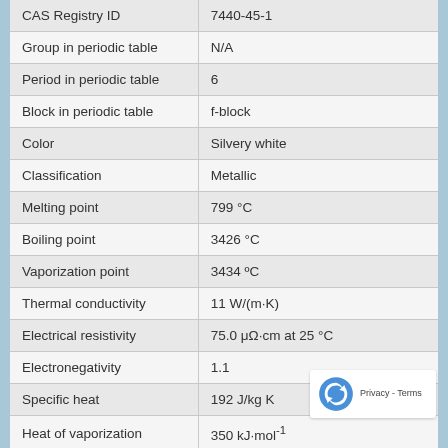| Property | Value |
| --- | --- |
| CAS Registry ID | 7440-45-1 |
| Group in periodic table | N/A |
| Period in periodic table | 6 |
| Block in periodic table | f-block |
| Color | Silvery white |
| Classification | Metallic |
| Melting point | 799 °C |
| Boiling point | 3426 °C |
| Vaporization point | 3434 ºC |
| Thermal conductivity | 11 W/(m·K) |
| Electrical resistivity | 75.0 μΩ·cm at 25 °C |
| Electronegativity | 1.1 |
| Specific heat | 192 J/kg K |
| Heat of vaporization | 350 kJ·mol⁻¹ |